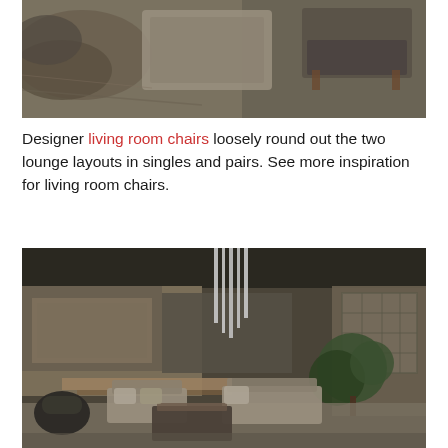[Figure (photo): Aerial/overhead view of a modern living room with lounge furniture, rugs, and dark stone flooring]
Designer living room chairs loosely round out the two lounge layouts in singles and pairs. See more inspiration for living room chairs.
[Figure (photo): Interior design photo of an outdoor/indoor lounge area with stone walls, hanging silver pendants, lush greenery, and modern sofa seating]